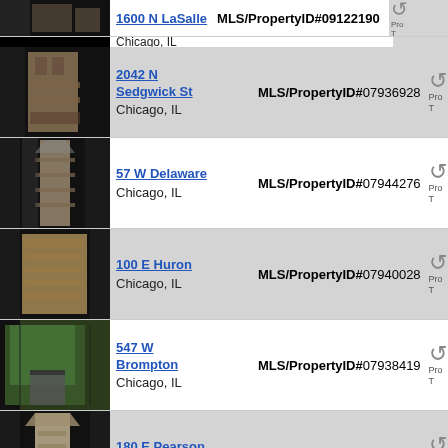| Photo | Address | MLS/PropertyID | Action |
| --- | --- | --- | --- |
| [image] | 1600 N LaSalle, Chicago, IL | MLS/PropertyID#09122190 |  |
| [image] | 2042 N Sedgwick St, Chicago, IL | MLS/PropertyID#07936928 |  |
| [image] | 57 W Delaware, Chicago, IL | MLS/PropertyID#07944276 |  |
| [image] | 100 E Huron, Chicago, IL | MLS/PropertyID#07940028 |  |
| [image] | 547 W Brompton, Chicago, IL | MLS/PropertyID#07938419 |  |
| [image] | 180 E Pearson, Chicago, IL | MLS/PropertyID#08512418 |  |